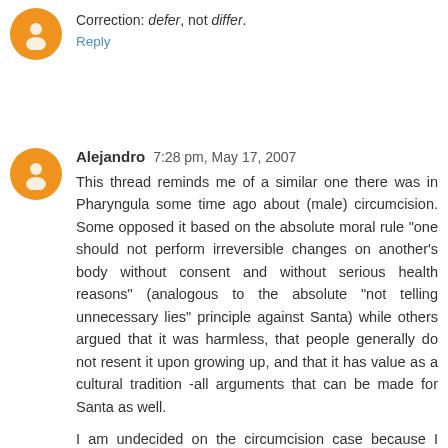Correction: defer, not differ.
Reply
Alejandro  7:28 pm, May 17, 2007
This thread reminds me of a similar one there was in Pharyngula some time ago about (male) circumcision. Some opposed it based on the absolute moral rule "one should not perform irreversible changes on another's body without consent and without serious health reasons" (analogous to the absolute "not telling unnecessary lies" principle against Santa) while others argued that it was harmless, that people generally do not resent it upon growing up, and that it has value as a cultural tradition -all arguments that can be made for Santa as well.
I am undecided on the circumcision case because I have heard conflicting reports about its potential consequences, but in the Santa case I favour the second argument. (Which is kind of strange considering I am Jewish atheist!) There seems to be value in the shared cultural traditions about